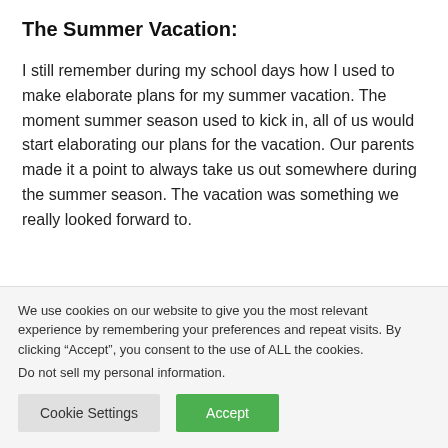The Summer Vacation:
I still remember during my school days how I used to make elaborate plans for my summer vacation. The moment summer season used to kick in, all of us would start elaborating our plans for the vacation. Our parents made it a point to always take us out somewhere during the summer season. The vacation was something we really looked forward to.
We use cookies on our website to give you the most relevant experience by remembering your preferences and repeat visits. By clicking “Accept”, you consent to the use of ALL the cookies.
Do not sell my personal information.